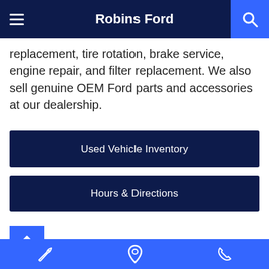Robins Ford
replacement, tire rotation, brake service, engine repair, and filter replacement. We also sell genuine OEM Ford parts and accessories at our dealership.
Used Vehicle Inventory
Hours & Directions
Contact Us
Service | Location | Phone